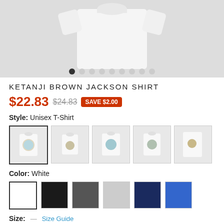[Figure (photo): White t-shirt product hero image on gray background with pagination dots below]
KETANJI BROWN JACKSON SHIRT
$22.83  $24.83  SAVE $2.00
Style: Unisex T-Shirt
[Figure (photo): Row of 5 t-shirt style thumbnails showing different cuts and angles]
Color: White
[Figure (infographic): Color swatches: White (selected), Black, Dark Gray, Light Gray, Navy, Blue]
Size:  —  Size Guide
S  M  L  XL  2XL  3XL  4XL  5XL